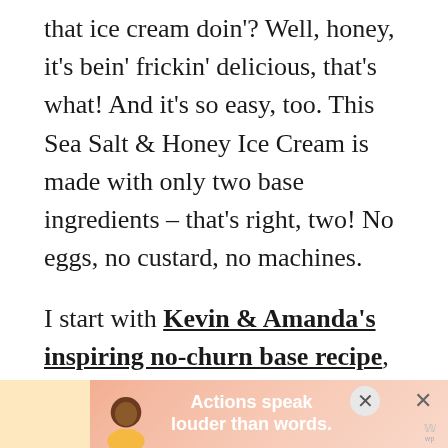that ice cream doin'? Well, honey, it's bein' frickin' delicious, that's what! And it's so easy, too. This Sea Salt & Honey Ice Cream is made with only two base ingredients – that's right, two! No eggs, no custard, no machines.
I start with Kevin & Amanda's inspiring no-churn base recipe, which uses two cups of heavy whipping cream and one can of sweetened condensed milk. Diet food this is not.
And then I stir in a nice amount of sweet-and-sticky honey and a little sea salt. Mmmmmm.
[Figure (other): Advertisement banner at bottom of page with illustrated figure of a person, text reading 'Actions speak louder than words.' with close buttons and a logo watermark]